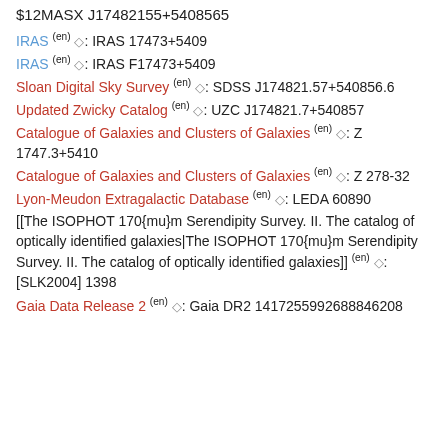$12MASX J17482155+5408565
IRAS (en) ◇: IRAS 17473+5409
IRAS (en) ◇: IRAS F17473+5409
Sloan Digital Sky Survey (en) ◇: SDSS J174821.57+540856.6
Updated Zwicky Catalog (en) ◇: UZC J174821.7+540857
Catalogue of Galaxies and Clusters of Galaxies (en) ◇: Z 1747.3+5410
Catalogue of Galaxies and Clusters of Galaxies (en) ◇: Z 278-32
Lyon-Meudon Extragalactic Database (en) ◇: LEDA 60890
[[The ISOPHOT 170{mu}m Serendipity Survey. II. The catalog of optically identified galaxies|The ISOPHOT 170{mu}m Serendipity Survey. II. The catalog of optically identified galaxies]] (en) ◇: [SLK2004] 1398
Gaia Data Release 2 (en) ◇: Gaia DR2 1417255992688846208